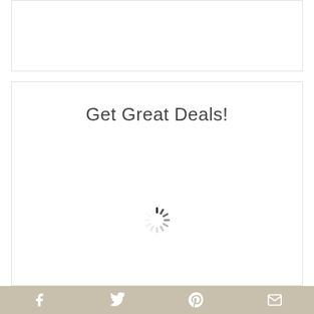[Figure (other): Empty white box with light border at top of page]
Get Great Deals!
[Figure (other): Loading spinner icon (radial dashes in a circle pattern)]
[Figure (other): Social sharing bar with Facebook, Twitter, Pinterest, and email icons on tan/khaki background]